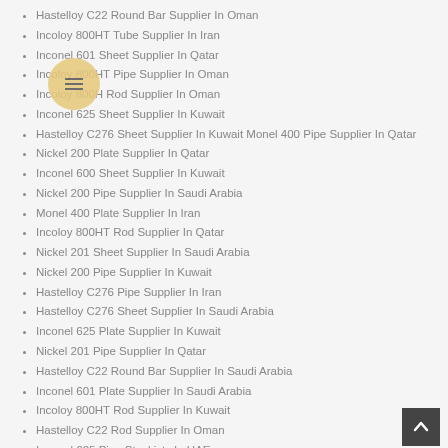Hastelloy C22 Round Bar Supplier In Oman
Incoloy 800HT Tube Supplier In Iran
Inconel 601 Sheet Supplier In Qatar
Incoloy 800HT Pipe Supplier In Oman
Incoloy 800H Rod Supplier In Oman
Inconel 625 Sheet Supplier In Kuwait
Hastelloy C276 Sheet Supplier In Kuwait Monel 400 Pipe Supplier In Qatar
Nickel 200 Plate Supplier In Qatar
Inconel 600 Sheet Supplier In Kuwait
Nickel 200 Pipe Supplier In Saudi Arabia
Monel 400 Plate Supplier In Iran
Incoloy 800HT Rod Supplier In Qatar
Nickel 201 Sheet Supplier In Saudi Arabia
Nickel 200 Pipe Supplier In Kuwait
Hastelloy C276 Pipe Supplier In Iran
Hastelloy C276 Sheet Supplier In Saudi Arabia
Inconel 625 Plate Supplier In Kuwait
Nickel 201 Pipe Supplier In Qatar
Hastelloy C22 Round Bar Supplier In Saudi Arabia
Inconel 601 Plate Supplier In Saudi Arabia
Incoloy 800HT Rod Supplier In Kuwait
Hastelloy C22 Rod Supplier In Oman
Inconel 625 Pipe Stockists In UAE
Monel K-500 Rod Supplier In Qatar
Inconel 825 Plate Supplier In Iran